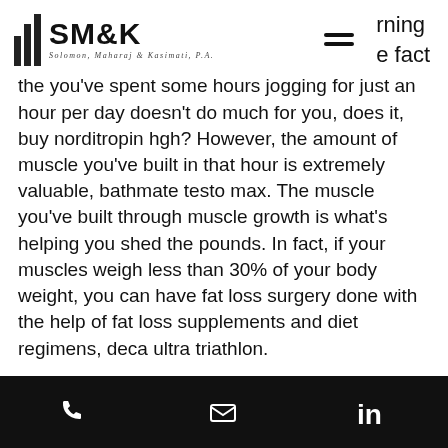SM&K Solomon, Maharaj & Kasimati, P.A.
rning e fact the you've spent some hours jogging for just an hour per day doesn't do much for you, does it, buy norditropin hgh? However, the amount of muscle you've built in that hour is extremely valuable, bathmate testo max. The muscle you've built through muscle growth is what's helping you shed the pounds. In fact, if your muscles weigh less than 30% of your body weight, you can have fat loss surgery done with the help of fat loss supplements and diet regimens, deca ultra triathlon.
If fat gain is a big problem for you and your diet is too restrictive or too low fat, the best
Phone | Email | LinkedIn